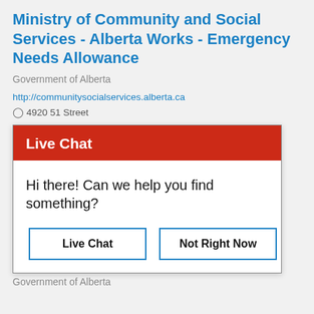Ministry of Community and Social Services - Alberta Works - Emergency Needs Allowance
Government of Alberta
http://communitysocialservices.alberta.ca
4920 51 Street
[Figure (screenshot): Live Chat modal popup with red header bar saying 'Live Chat', body text 'Hi there! Can we help you find something?', and two buttons: 'Live Chat' and 'Not Right Now']
Government of Alberta